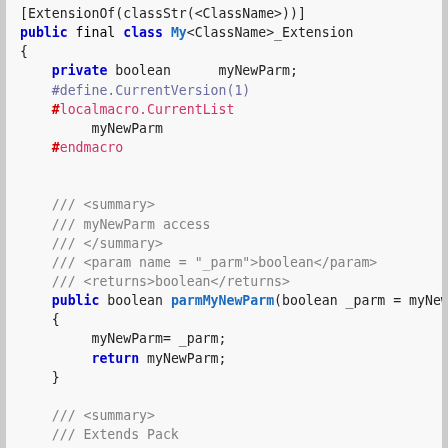[Figure (screenshot): Code snippet showing a partial X++ / AX class extension definition with private field, macros, and two public methods: parmMyNewParm and pack.]